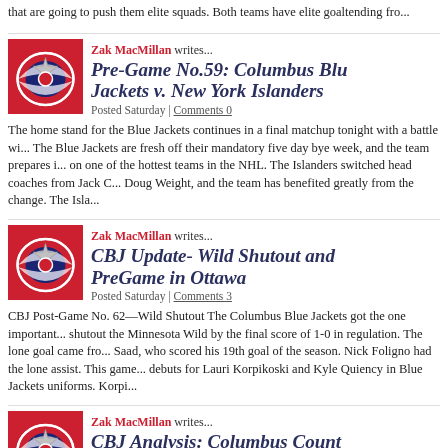that are going to push them elite squads. Both teams have elite goaltending fro...
Zak MacMillan writes...
Pre-Game No.59: Columbus Blue Jackets v. New York Islanders
Posted Saturday | Comments 0
The home stand for the Blue Jackets continues in a final matchup tonight with a battle wi... The Blue Jackets are fresh off their mandatory five day bye week, and the team prepares i... on one of the hottest teams in the NHL. The Islanders switched head coaches from Jack C... Doug Weight, and the team has benefited greatly from the change. The Isla...
Zak MacMillan writes...
CBJ Update- Wild Shutout and PreGame in Ottawa
Posted Saturday | Comments 3
CBJ Post-Game No. 62—Wild Shutout The Columbus Blue Jackets got the one importan... shutout the Minnesota Wild by the final score of 1-0 in regulation. The lone goal came fro... Saad, who scored his 19th goal of the season. Nick Foligno had the lone assist. This game... debuts for Lauri Korpikoski and Kyle Quiency in Blue Jackets uniforms. Korpi...
Zak MacMillan writes...
CBJ Analysis: Columbus Count on Youth Movement